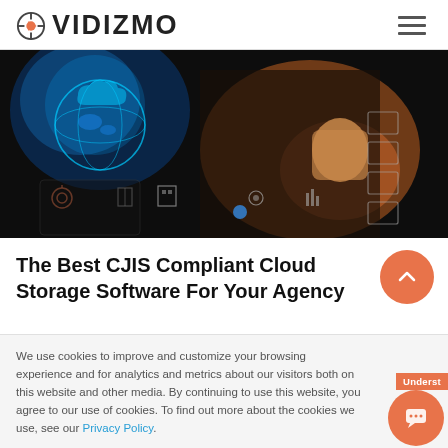VIDIZMO
[Figure (photo): A person interacting with a digital holographic interface displaying cloud, security, and technology icons, with an orange glowing background]
The Best CJIS Compliant Cloud Storage Software For Your Agency
We use cookies to improve and customize your browsing experience and for analytics and metrics about our visitors both on this website and other media. By continuing to use this website, you agree to our use of cookies. To find out more about the cookies we use, see our Privacy Policy.